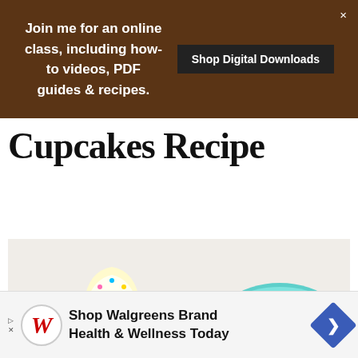Join me for an online class, including how-to videos, PDF guides & recipes. Shop Digital Downloads
Cupcakes Recipe
[Figure (photo): Overhead view of cupcakes with yellow frosting and colorful sprinkles on a white cake stand, next to a teal mixing bowl filled with rainbow sprinkles. Striped paper cupcake liners scattered around.]
Shop Walgreens Brand Health & Wellness Today